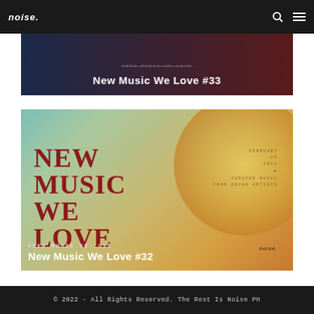noise.
[Figure (photo): Dark gradient banner image (blue to dark red) with cropped title text overlay: #NEW MUSIC WE LOVE / New Music We Love #33]
#NEW MUSIC WE LOVE
New Music We Love #33
[Figure (photo): Promotional card with teal-to-warm gradient background and large golden circle. Red serif text reads NEW MUSIC WE LOVE on left. Monospace text on right: FEBRUARY 25 2021 • CURATED MUSIC FROM ASIAN ARTISTS. noise. logo bottom right.]
#NEW MUSIC WE LOVE
New Music We Love #32
© 2022 - All Rights Reserved. The Rest Is Noise PH